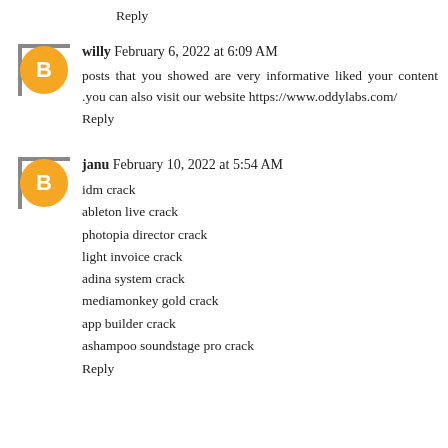Reply
willy  February 6, 2022 at 6:09 AM
posts that you showed are very informative liked your content .you can also visit our website https://www.oddylabs.com/
Reply
janu  February 10, 2022 at 5:54 AM
idm crack
ableton live crack
photopia director crack
light invoice crack
adina system crack
mediamonkey gold crack
app builder crack
ashampoo soundstage pro crack
Reply